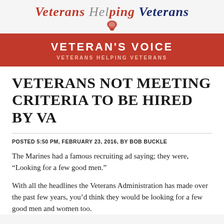Veterans Helping Veterans
VETERAN'S VOICE
VETERANS HELPING VETERANS
VETERANS NOT MEETING CRITERIA TO BE HIRED BY VA
POSTED 5:50 PM, FEBRUARY 23, 2016, BY BOB BUCKLE
The Marines had a famous recruiting ad saying; they were, “Looking for a few good men.”
With all the headlines the Veterans Administration has made over the past few years, you’d think they would be looking for a few good men and women too.